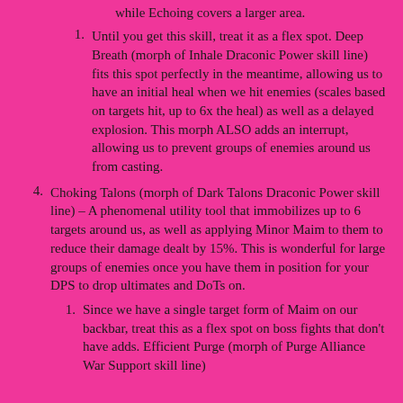while Echoing covers a larger area.
Until you get this skill, treat it as a flex spot. Deep Breath (morph of Inhale Draconic Power skill line) fits this spot perfectly in the meantime, allowing us to have an initial heal when we hit enemies (scales based on targets hit, up to 6x the heal) as well as a delayed explosion. This morph ALSO adds an interrupt, allowing us to prevent groups of enemies around us from casting.
Choking Talons (morph of Dark Talons Draconic Power skill line) – A phenomenal utility tool that immobilizes up to 6 targets around us, as well as applying Minor Maim to them to reduce their damage dealt by 15%. This is wonderful for large groups of enemies once you have them in position for your DPS to drop ultimates and DoTs on.
Since we have a single target form of Maim on our backbar, treat this as a flex spot on boss fights that don't have adds. Efficient Purge (morph of Purge Alliance War Support skill line)